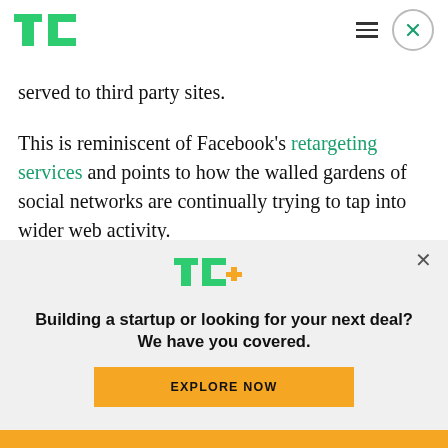TechCrunch logo, hamburger menu, close button
served to third party sites.
This is reminiscent of Facebook's retargeting services and points to how the walled gardens of social networks are continually trying to tap into wider web activity.
Twitter says that users will be given a simple option
[Figure (logo): TechCrunch TC+ logo in green with yellow plus sign]
Building a startup or looking for your next deal? We have you covered.
EXPLORE NOW